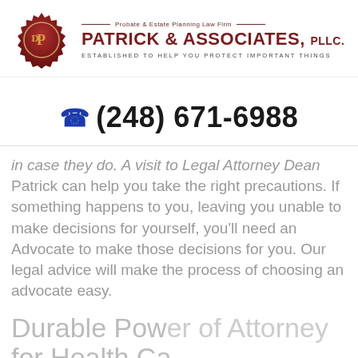[Figure (logo): Patrick & Associates PLLC law firm logo with red wax seal containing initials and firm name]
PATRICK & ASSOCIATES, PLLC. — Probate & Estate Planning Law Firm — ESTABLISHED TO HELP YOU PROTECT IMPORTANT THINGS
(248) 671-6988
in case they do. A visit to Legal Attorney Dean Patrick can help you take the right precautions. If something happens to you, leaving you unable to make decisions for yourself, you'll need an Advocate to make those decisions for you. Our legal advice will make the process of choosing an advocate easy.
Durable Power of Attorney for Health Ca…